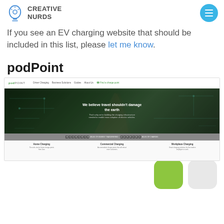CREATIVE NURDS
If you see an EV charging website that should be included in this list, please let me know.
podPoint
[Figure (screenshot): Screenshot of the podPoint website showing navigation bar with logo, hero section with aerial road image and text 'We believe travel shouldn't damage the earth', statistics bar, and bottom section showing Home Charging, Commercial Charging, and Workplace Charging cards.]